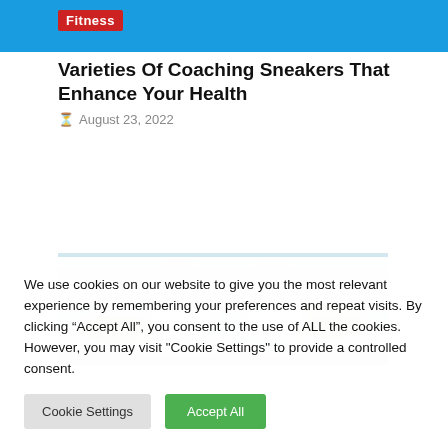Fitness
Varieties Of Coaching Sneakers That Enhance Your Health
August 23, 2022
[Figure (photo): Close-up blurred photo of person wearing white sneakers/training shoes while running or walking outdoors]
We use cookies on our website to give you the most relevant experience by remembering your preferences and repeat visits. By clicking “Accept All”, you consent to the use of ALL the cookies. However, you may visit "Cookie Settings" to provide a controlled consent.